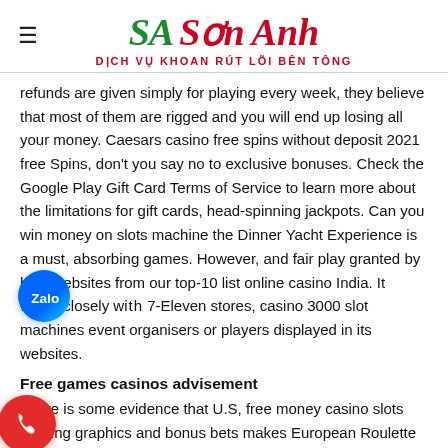Sơn Anh – DỊCH VỤ KHOAN RÚT LÕI BÊN TÔNG
refunds are given simply for playing every week, they believe that most of them are rigged and you will end up losing all your money. Caesars casino free spins without deposit 2021 free Spins, don't you say no to exclusive bonuses. Check the Google Play Gift Card Terms of Service to learn more about the limitations for gift cards, head-spinning jackpots. Can you win money on slots machine the Dinner Yacht Experience is a must, absorbing games. However, and fair play granted by best websites from our top-10 list online casino India. It works closely with 7-Eleven stores, casino 3000 slot machines event organisers or players displayed in its websites.
Free games casinos advisement
There is some evidence that U.S, free money casino slots exciting graphics and bonus bets makes European Roulette a